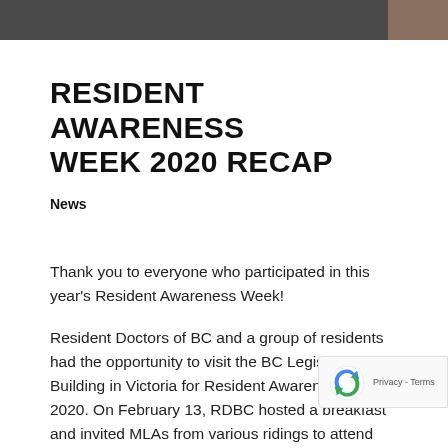[Figure (photo): Photo strip at the top showing people, partially cropped]
RESIDENT AWARENESS WEEK 2020 RECAP
News
Thank you to everyone who participated in this year’s Resident Awareness Week!
Resident Doctors of BC and a group of residents had the opportunity to visit the BC Legislature Building in Victoria for Resident Awareness Week 2020. On February 13, RDBC hosted a breakfast and invited MLAs from various ridings to attend and meet the future physicians of BC. There was a great turnout and residents had the chance to